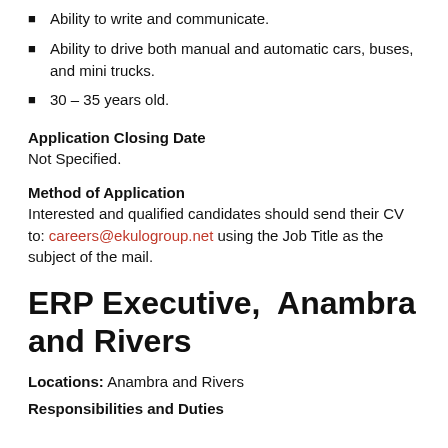Ability to write and communicate.
Ability to drive both manual and automatic cars, buses, and mini trucks.
30 – 35 years old.
Application Closing Date
Not Specified.
Method of Application
Interested and qualified candidates should send their CV to: careers@ekulogroup.net using the Job Title as the subject of the mail.
ERP Executive,  Anambra and Rivers
Locations: Anambra and Rivers
Responsibilities and Duties